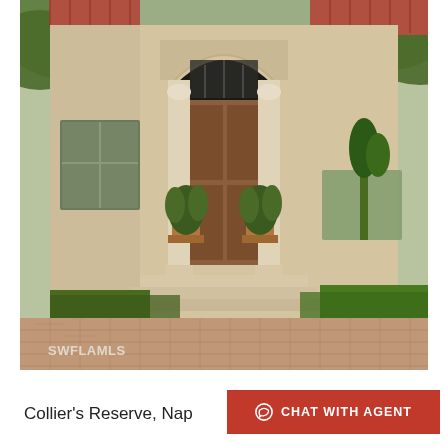[Figure (photo): Exterior photo of a luxury home entrance with arched doorway, decorative columns, potted plants, brick paver driveway, and lush tropical landscaping. Watermark 'SWFLAMLS' visible in lower left corner.]
Collier's Reserve, Nap
CHAT WITH AGENT